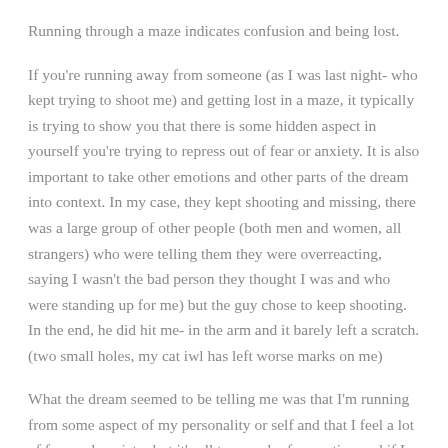Running through a maze indicates confusion and being lost.
If you're running away from someone (as I was last night- who kept trying to shoot me) and getting lost in a maze, it typically is trying to show you that there is some hidden aspect in yourself you're trying to repress out of fear or anxiety. It is also important to take other emotions and other parts of the dream into context. In my case, they kept shooting and missing, there was a large group of other people (both men and women, all strangers) who were telling them they were overreacting, saying I wasn't the bad person they thought I was and who were standing up for me) but the guy chose to keep shooting. In the end, he did hit me- in the arm and it barely left a scratch. (two small holes, my cat iwl has left worse marks on me)
What the dream seemed to be telling me was that I'm running from some aspect of my personality or self and that I feel a lot of fear and anxiety; but it's all too much of a reaction and if I